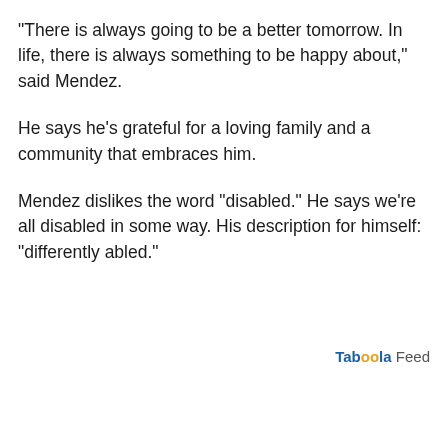"There is always going to be a better tomorrow.  In life, there is always something to be happy about," said Mendez.
He says he's grateful for a loving family and a community that embraces him.
Mendez dislikes the word "disabled." He says we're all disabled in some way. His description for himself: "differently abled."
Taboola Feed